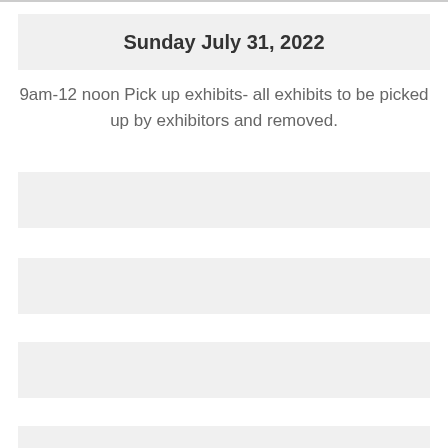Sunday July 31, 2022
9am-12 noon Pick up exhibits- all exhibits to be picked up by exhibitors and removed.